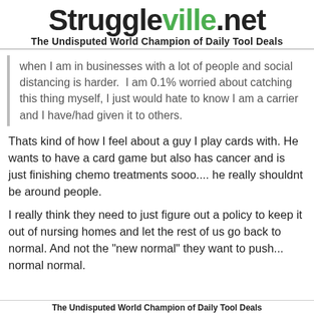Struggleville.net
The Undisputed World Champion of Daily Tool Deals
when I am in businesses with a lot of people and social distancing is harder.  I am 0.1% worried about catching this thing myself, I just would hate to know I am a carrier and I have/had given it to others.
Thats kind of how I feel about a guy I play cards with. He wants to have a card game but also has cancer and is just finishing chemo treatments sooo.... he really shouldnt be around people.
I really think they need to just figure out a policy to keep it out of nursing homes and let the rest of us go back to normal. And not the "new normal" they want to push... normal normal.
The Undisputed World Champion of Daily Tool Deals